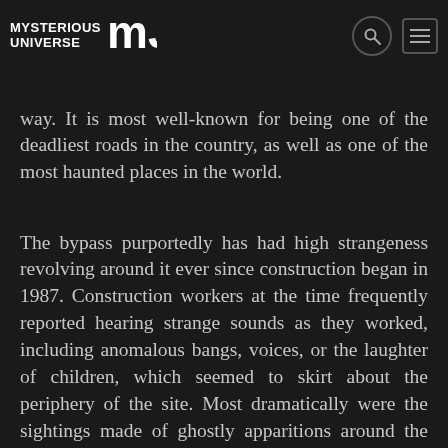MYSTERIOUS UNIVERSE [logo] [search icon] [menu icon]
way. It is most well-known for being one of the deadliest roads in the country, as well as one of the most haunted places in the world.
The bypass purportedly has had high strangeness revolving around it ever since construction began in 1987. Construction workers at the time frequently reported hearing strange sounds as they worked, including anomalous bangs, voices, or the laughter of children, which seemed to skirt about the periphery of the site. Most dramatically were the sightings made of ghostly apparitions around the construction site, with one of the first and perhaps most notable case being that of two site security guards by